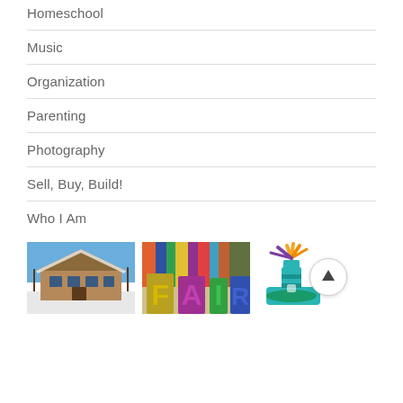Homeschool
Music
Organization
Parenting
Photography
Sell, Buy, Build!
Who I Am
[Figure (photo): A two-story brick house covered in snow with bare trees and blue sky]
[Figure (photo): Colorful stacked books with large letter tiles spelling FAIR in foreground]
[Figure (logo): Lighthouse logo with teal and green colors and orange/yellow sunrays, beside a circular scroll-to-top button with upward arrow]